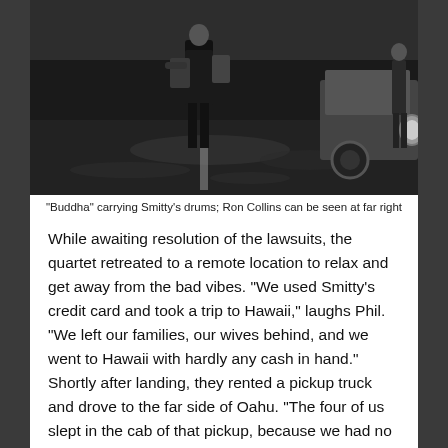[Figure (photo): Black and white photograph of a person ('Buddha') carrying drums on a wet street, with a car visible at far right (Ron Collins can be seen).]
"Buddha" carrying Smitty's drums; Ron Collins can be seen at far right
While awaiting resolution of the lawsuits, the quartet retreated to a remote location to relax and get away from the bad vibes. “We used Smitty’s credit card and took a trip to Hawaii,” laughs Phil. “We left our families, our wives behind, and we went to Hawaii with hardly any cash in hand.” Shortly after landing, they rented a pickup truck and drove to the far side of Oahu. “The four of us slept in the cab of that pickup, because we had no place to go.” The next morning, they found some coconuts, broke them open and ate from them. “That was our breakfast,” Phil says. The quartet finally “hooked up with some of Drake’s hippie friends” and crashed at their place. While in Hawaii they wrote some songs and played a few gigs. “We had some fun